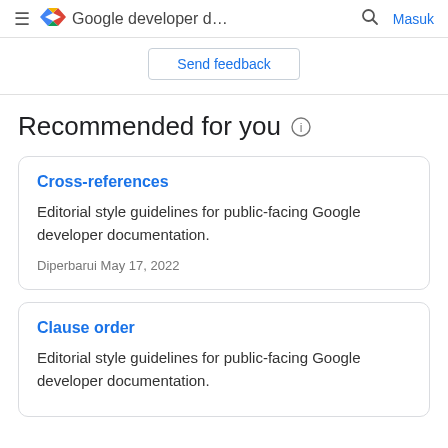≡ <> Google developer d... 🔍 Masuk
Send feedback
Recommended for you
Cross-references
Editorial style guidelines for public-facing Google developer documentation.
Diperbarui May 17, 2022
Clause order
Editorial style guidelines for public-facing Google developer documentation.